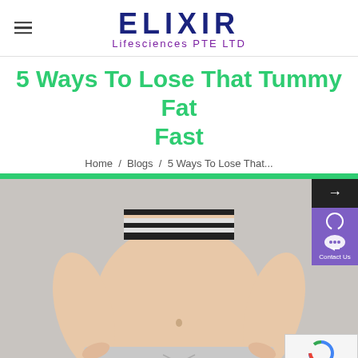ELIXIR Lifesciences PTE LTD
5 Ways To Lose That Tummy Fat Fast
Home / Blogs / 5 Ways To Lose That...
[Figure (photo): Woman showing toned midsection wearing a striped sports bra and light grey sweatpants, hands on hips, against a grey background]